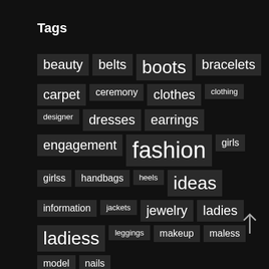Tags
beauty
belts
boots
bracelets
carpet
ceremony
clothes
clothing
designer
dresses
earrings
engagement
fashion
girls
girlss
handbags
heels
ideas
information
jackets
jewelry
ladies
ladiess
leggings
makeup
maless
model
nails